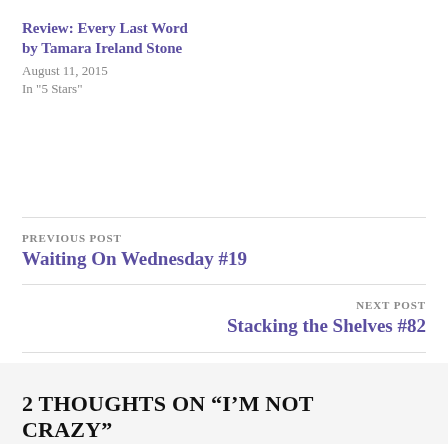Review: Every Last Word by Tamara Ireland Stone
August 11, 2015
In "5 Stars"
PREVIOUS POST
Waiting On Wednesday #19
NEXT POST
Stacking the Shelves #82
2 THOUGHTS ON “I’M NOT CRAZY”